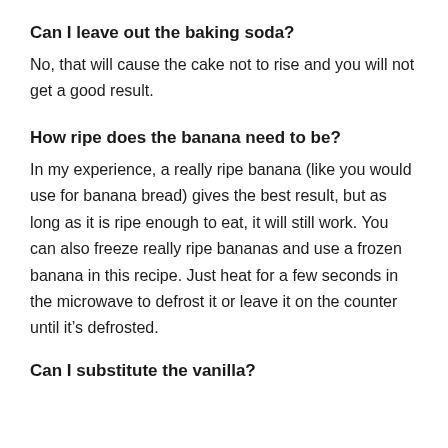Can I leave out the baking soda?
No, that will cause the cake not to rise and you will not get a good result.
How ripe does the banana need to be?
In my experience, a really ripe banana (like you would use for banana bread) gives the best result, but as long as it is ripe enough to eat, it will still work. You can also freeze really ripe bananas and use a frozen banana in this recipe. Just heat for a few seconds in the microwave to defrost it or leave it on the counter until it’s defrosted.
Can I substitute the vanilla?